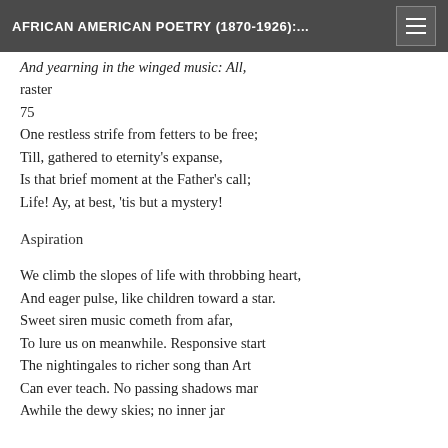AFRICAN AMERICAN POETRY (1870-1926):...
And yearning in the winged music: All,
raster
75
One restless strife from fetters to be free;
Till, gathered to eternity's expanse,
Is that brief moment at the Father's call;
Life! Ay, at best, 'tis but a mystery!
Aspiration
We climb the slopes of life with throbbing heart,
And eager pulse, like children toward a star.
Sweet siren music cometh from afar,
To lure us on meanwhile. Responsive start
The nightingales to richer song than Art
Can ever teach. No passing shadows mar
Awhile the dewy skies; no inner jar